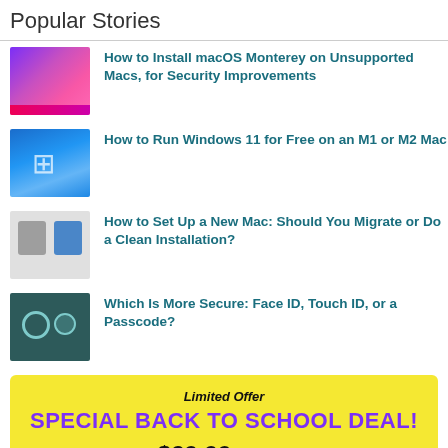Popular Stories
How to Install macOS Monterey on Unsupported Macs, for Security Improvements
How to Run Windows 11 for Free on an M1 or M2 Mac
How to Set Up a New Mac: Should You Migrate or Do a Clean Installation?
Which Is More Secure: Face ID, Touch ID, or a Passcode?
[Figure (infographic): Promotional banner with yellow background. Text: Limited Offer, SPECIAL BACK TO SCHOOL DEAL!, $29.99 $84.99, Buy Now button.]